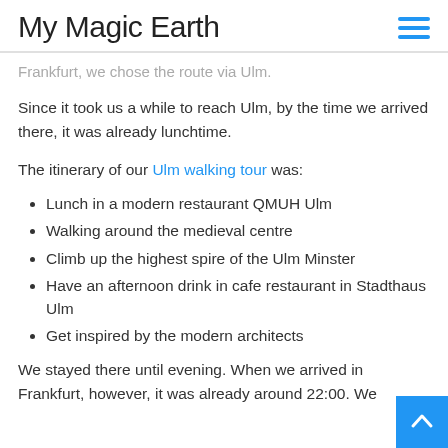My Magic Earth
Frankfurt, we chose the route via Ulm.
Since it took us a while to reach Ulm, by the time we arrived there, it was already lunchtime.
The itinerary of our Ulm walking tour was:
Lunch in a modern restaurant QMUH Ulm
Walking around the medieval centre
Climb up the highest spire of the Ulm Minster
Have an afternoon drink in cafe restaurant in Stadthaus Ulm
Get inspired by the modern architects
We stayed there until evening. When we arrived in Frankfurt, however, it was already around 22:00. We